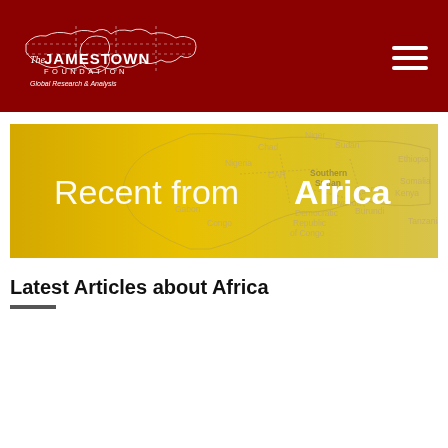[Figure (logo): The Jamestown Foundation logo with world map silhouette and text 'The JAMESTOWN FOUNDATION Global Research & Analysis' on dark red background]
[Figure (map): Banner image showing a map of Africa with country labels including Niger, Chad, Sudan, Ethiopia, Nigeria, CAR, Southern Sudan, Somalia, Uganda, Kenya, Rwanda, Democratic Republic of Congo, Burundi, Tanzania, Congo, Gabon. Text overlay reads 'Recent from Africa']
Latest Articles about Africa